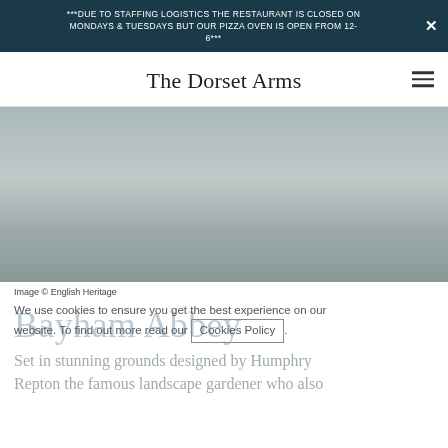***DUE TO STAFFING LOGISTICS THE RESTAURANT IS CLOSED ON MONDAYS & TUESDAYS BUT OUR PIZZA OVEN IS OPEN FROM 12-6***
The Dorset Arms
[Figure (photo): Hero image of Bayham Abbey grounds, grey/muted landscape photo]
Image © English Heritage
We use cookies to ensure you get the best experience on our website. To find out more read our Cookies Policy.
Bayham Abbey
Set in stunning grounds designed by Humphry Repton the famous landscape gardener who also